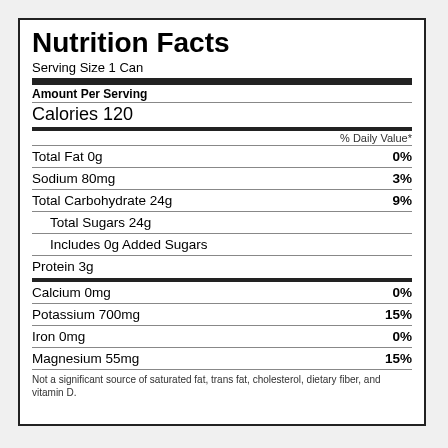Nutrition Facts
Serving Size 1 Can
Amount Per Serving
Calories 120
| Nutrient | % Daily Value* |
| --- | --- |
| Total Fat 0g | 0% |
| Sodium 80mg | 3% |
| Total Carbohydrate 24g | 9% |
| Total Sugars 24g |  |
| Includes 0g Added Sugars |  |
| Protein 3g |  |
| Calcium 0mg | 0% |
| Potassium 700mg | 15% |
| Iron 0mg | 0% |
| Magnesium 55mg | 15% |
Not a significant source of saturated fat, trans fat, cholesterol, dietary fiber, and vitamin D.